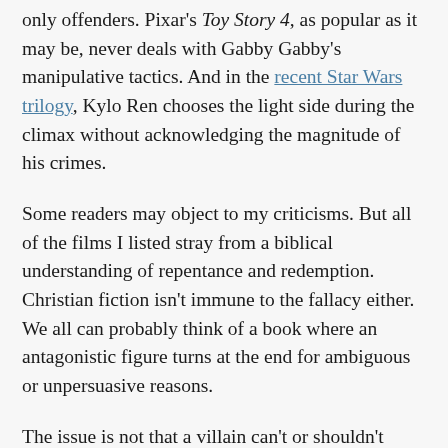only offenders. Pixar's Toy Story 4, as popular as it may be, never deals with Gabby Gabby's manipulative tactics. And in the recent Star Wars trilogy, Kylo Ren chooses the light side during the climax without acknowledging the magnitude of his crimes.
Some readers may object to my criticisms. But all of the films I listed stray from a biblical understanding of repentance and redemption. Christian fiction isn't immune to the fallacy either. We all can probably think of a book where an antagonistic figure turns at the end for ambiguous or unpersuasive reasons.
The issue is not that a villain can't or shouldn't